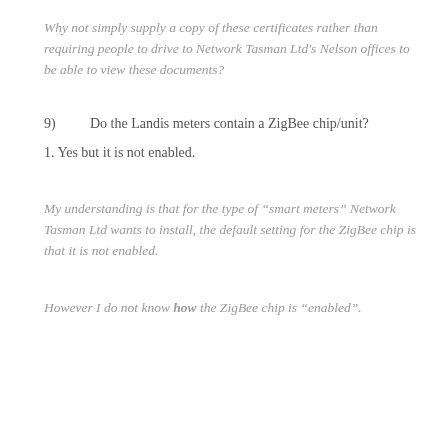Why not simply supply a copy of these certificates rather than requiring people to drive to Network Tasman Ltd's Nelson offices to be able to view these documents?
9)      Do the Landis meters contain a ZigBee chip/unit?
1. Yes but it is not enabled.
My understanding is that for the type of “smart meters” Network Tasman Ltd wants to install, the default setting for the ZigBee chip is that it is not enabled.
However I do not know how the ZigBee chip is “enabled”.